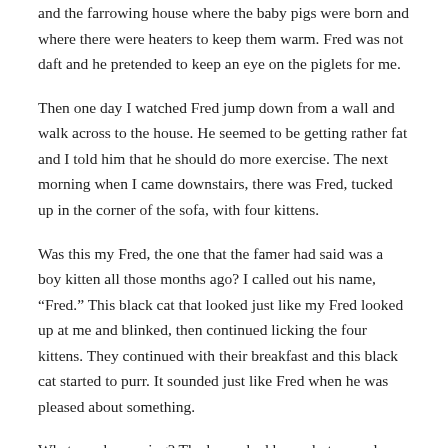and the farrowing house where the baby pigs were born and where there were heaters to keep them warm. Fred was not daft and he pretended to keep an eye on the piglets for me.
Then one day I watched Fred jump down from a wall and walk across to the house. He seemed to be getting rather fat and I told him that he should do more exercise. The next morning when I came downstairs, there was Fred, tucked up in the corner of the sofa, with four kittens.
Was this my Fred, the one that the famer had said was a boy kitten all those months ago? I called out his name, “Fred.” This black cat that looked just like my Fred looked up at me and blinked, then continued licking the four kittens. They continued with their breakfast and this black cat started to purr. It sounded just like Fred when he was pleased about something.
What was happening? The house had been shut up and locked all night. None of the windows were open wide enough for another cat